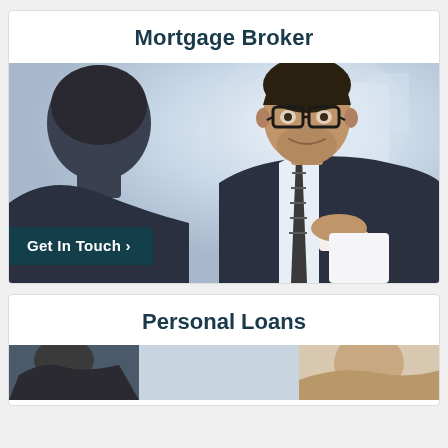Mortgage Broker
[Figure (photo): Two businessmen sitting across a table in a meeting. The man facing the camera is wearing glasses, a dark suit and striped tie, holding a coffee cup and smiling. The other man is seen from behind.]
Get In Touch >
Personal Loans
[Figure (photo): Partial view of a photo strip showing two figures, partially visible at the bottom of the page.]